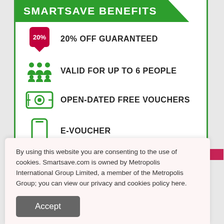SMARTSAVE BENEFITS
20% OFF GUARANTEED
VALID FOR UP TO 6 PEOPLE
OPEN-DATED FREE VOUCHERS
E-VOUCHER
PRINT & GO!
By using this website you are consenting to the use of cookies. Smartsave.com is owned by Metropolis International Group Limited, a member of the Metropolis Group; you can view our privacy and cookies policy here.
Accept